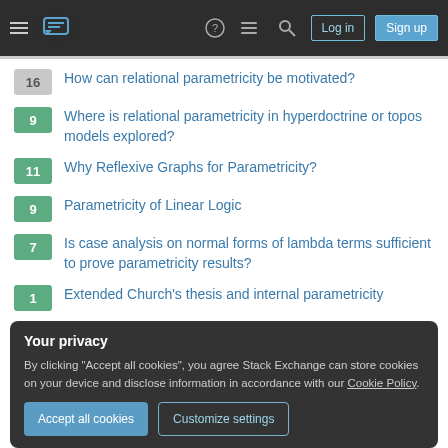Stack Exchange navigation bar with hamburger menu, logo, help, chat, search icons, Log in and Sign up buttons
16 — How can relational parametricity be motivated?
9 — Where is relational parametricity in hyperdoctrine or topos models explored?
11 — Why Reflexive Graphs for Parametricity?
9 — Parametricity of Linear Logic
7 — Is case analysis on normal forms of lambda terms sufficient to prove parametricity results?
1 — Extended Church's thesis and internal parametricity
Your privacy
By clicking "Accept all cookies", you agree Stack Exchange can store cookies on your device and disclose information in accordance with our Cookie Policy.
[Accept all cookies] [Customize settings]